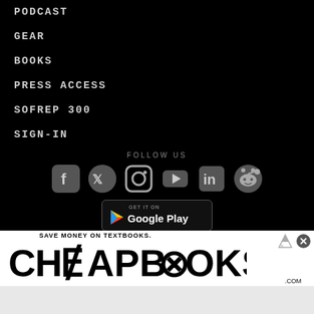PODCAST
GEAR
BOOKS
PRESS ACCESS
SOFREP 300
SIGN-IN
FOLLOW US
[Figure (other): Social media icons: Facebook, Twitter, Instagram, YouTube, LinkedIn, Reddit]
[Figure (other): Google Play store badge showing GET IT ON Google Play]
[Figure (other): CheapBooks.com advertisement banner: SAVE MONEY ON TEXTBOOKS. CHEAPBOOKS.COM]